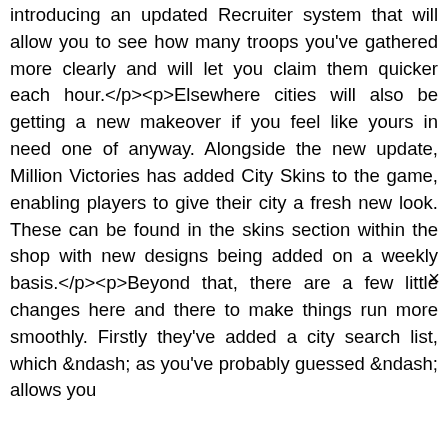introducing an updated Recruiter system that will allow you to see how many troops you've gathered more clearly and will let you claim them quicker each hour.</p><p>Elsewhere cities will also be getting a new makeover if you feel like yours in need one of anyway. Alongside the new update, Million Victories has added City Skins to the game, enabling players to give their city a fresh new look. These can be found in the skins section within the shop with new designs being added on a weekly basis.</p><p>Beyond that, there are a few little changes here and there to make things run more smoothly. Firstly they've added a city search list, which &ndash; as you've probably guessed &ndash; allows you ×